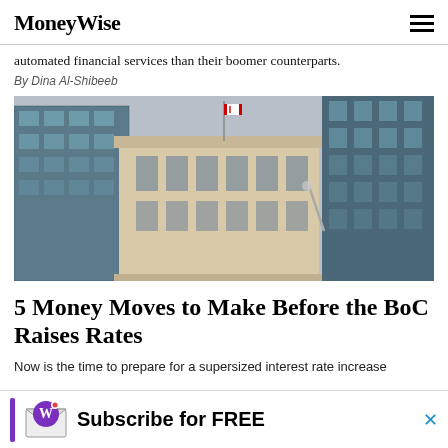MoneyWise
automated financial services than their boomer counterparts.
By Dina Al-Shibeeb
[Figure (photo): Photograph of the Bank of Canada building in Ottawa, a classical stone structure with a Canadian flag on top, flanked by modern glass office towers.]
5 Money Moves to Make Before the BoC Raises Rates
Now is the time to prepare for a supersized interest rate increase
Subscribe for FREE